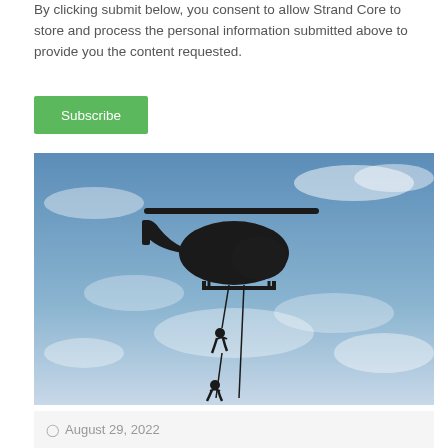By clicking submit below, you consent to allow Strand Core to store and process the personal information submitted above to provide you the content requested.
Subscribe
[Figure (photo): Silhouette of a military helicopter in flight against a blue sky with clouds, with two soldiers rappelling down ropes hanging from the helicopter.]
August 29, 2022